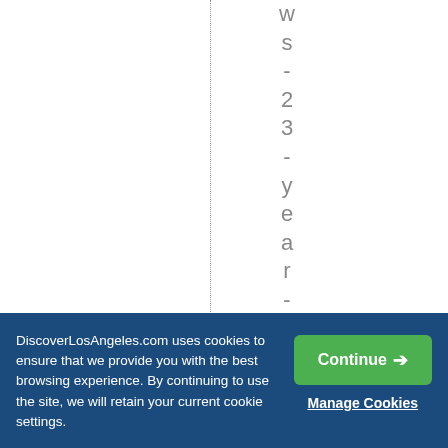ws-23-year-oldDev
DiscoverLosAngeles.com uses cookies to ensure that we provide you with the best browsing experience. By continuing to use the site, we will retain your current cookie settings.
Continue →
Manage Cookies